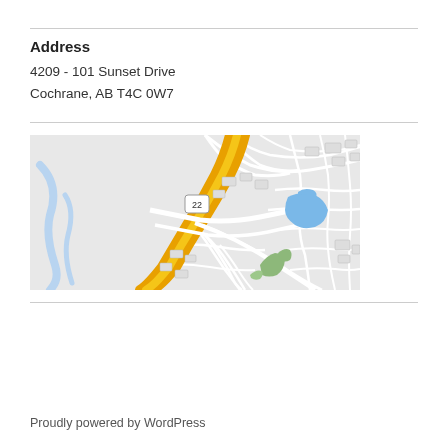Address
4209 - 101 Sunset Drive
Cochrane, AB T4C 0W7
[Figure (map): Google Maps street map showing Cochrane, AB area near Sunset Drive with Highway 22 running diagonally, residential streets, a blue pond/lake area, and green spaces.]
Proudly powered by WordPress